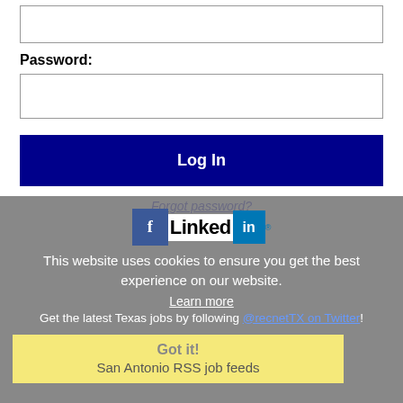[Figure (screenshot): Login form showing password label and input field, Log In button, and Forgot password link]
Password:
Log In
Forgot password?
[Figure (screenshot): Gray cookie consent overlay with Facebook and LinkedIn icons, cookie notice text, Learn more link, Twitter follow text, and Got it! button with San Antonio RSS job feeds text]